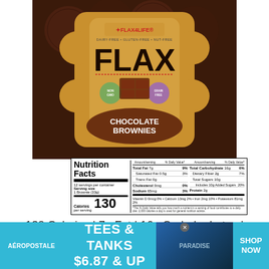[Figure (photo): Flax4Life Chocolate Brownies product package — dairy-free, gluten-free, nut-free. Brown packaging with FLAX branding and chocolate brownies visible.]
| Nutrition Facts | Amount/serving | % Daily Value* | Amount/serving | % Daily Value* |
| --- | --- | --- | --- | --- |
| Total Fat 7g |  | 9% | Total Carbohydrate 16g | 6% |
| Saturated Fat 0.5g |  | 3% | Dietary Fiber 2g | 7% |
| Trans Fat 0g |  |  | Total Sugars 10g |  |
| Cholesterol 0mg |  | 0% | Includes 10g Added Sugars | 20% |
| Sodium 65mg |  | 3% | Protein 2g |  |
| Calories per serving: 130 |  |  |  |  |
| 12 servings per container |  |  |  |  |
| Serving size: 1 Brownie (33g) |  |  |  |  |
130 Calories | 7g Fat | 16g Carbohydrates | 65mg Sodium | 10g Sugar
[Figure (photo): Aeropostale advertisement banner — TEES & TANKS $6.87 & UP, with PARADISE branded clothing image and SHOP NOW call to action]